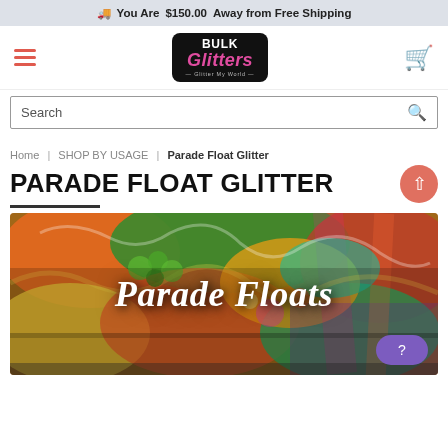You Are $150.00 Away from Free Shipping
[Figure (logo): Bulk Glitters logo with black background, pink italic Glitters text and tagline Glitter My World]
Search
Home | SHOP BY USAGE | Parade Float Glitter
PARADE FLOAT GLITTER
[Figure (photo): Colorful parade floats with dragons and vibrant decorations, with white italic text overlay reading Parade Floats]